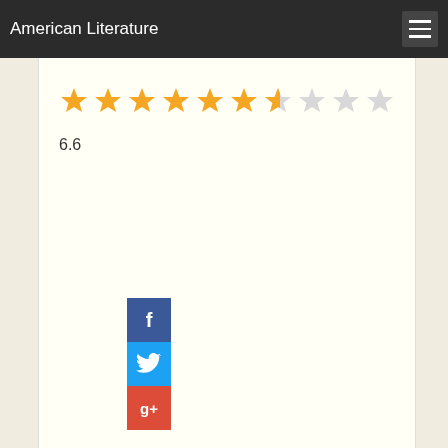American Literature
[Figure (other): Star rating display showing 6.6 out of 10: 6 full gold stars, 1 partial gold star, and 3 empty/gray stars]
6.6
[Figure (other): Social share buttons stacked vertically: Facebook (blue, f), Twitter (light blue, bird icon), Google+ (red, g+)]